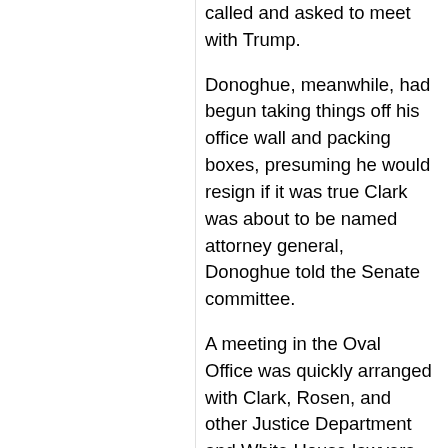called and asked to meet with Trump.
Donoghue, meanwhile, had begun taking things off his office wall and packing boxes, presuming he would resign if it was true Clark was about to be named attorney general, Donoghue told the Senate committee.
A meeting in the Oval Office was quickly arranged with Clark, Rosen, and other Justice Department and White House lawyers. Rosen found Trump sitting behind the Resolute Desk, while other White House and Justice Department officials took their seats. Donoghue, still in his muddy jeans and T-shirt, remained outside. The Post had just broken the news that Trump had a day earlier pressured Georgia's secretary of state, Brad Raffensperger, to find enough votes to win the state. Raffensperger had told Trump his allegations of fraud that could overturn the election were baseless.